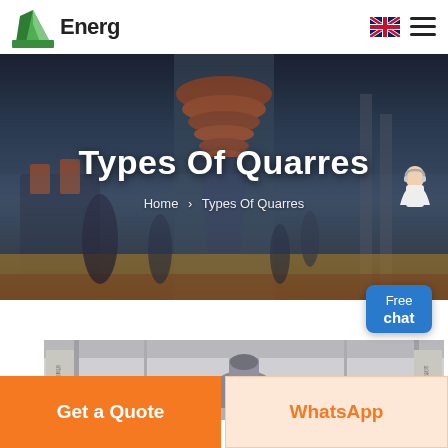Energ
[Figure (photo): Hero banner showing industrial machinery (cone crusher) with women in formal dresses posed around it in a dark factory setting]
Types Of Quarres
Home > Types Of Quarres
[Figure (photo): Partial view of industrial equipment in a factory with Chinese banner text visible on sides]
Get a Quote
WhatsApp